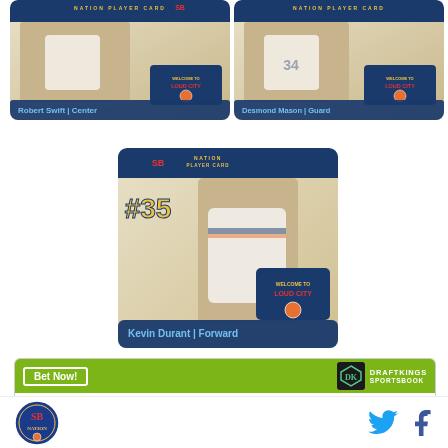[Figure (photo): Robert Swift | Center player card — SB Nation Player Card, Welcome to Loud City]
[Figure (photo): Desmond Mason | Guard player card — SB Nation Player Card, Welcome to Loud City]
[Figure (photo): #35 Kevin Durant | Forward player card — SB Nation Player Card, Welcome to Loud City]
[Figure (infographic): DraftKings Sportsbook betting widget: Shai Gilgeous-Alexander, To win MVP +25000]
SB Nation logo, Twitter icon, Facebook icon